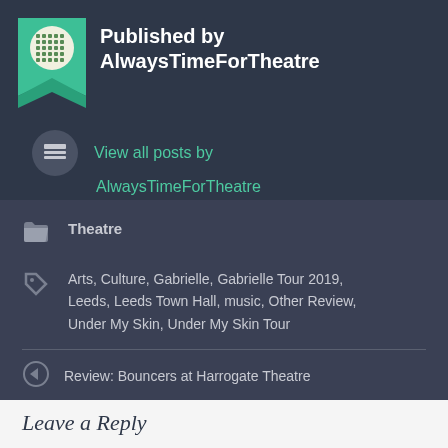Published by AlwaysTimeForTheatre
View all posts by AlwaysTimeForTheatre
Theatre
Arts, Culture, Gabrielle, Gabrielle Tour 2019, Leeds, Leeds Town Hall, music, Other Review, Under My Skin, Under My Skin Tour
Review: Bouncers at Harrogate Theatre
Review: Rough Crossing (Tour)